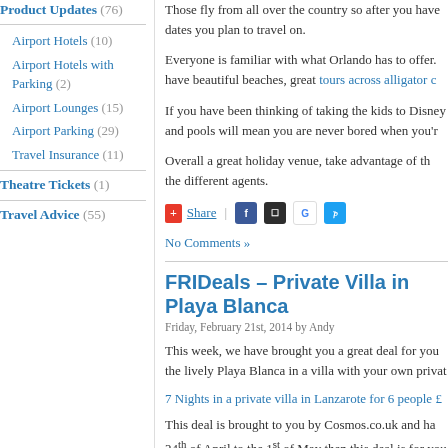Product Updates (76)
Airport Hotels (10)
Airport Hotels with Parking (2)
Airport Lounges (15)
Airport Parking (29)
Travel Insurance (11)
Theatre Tickets (1)
Travel Advice (55)
Those fly from all over the country so after you have dates you plan to travel on.
Everyone is familiar with what Orlando has to offer. have beautiful beaches, great tours across alligator c
If you have been thinking of taking the kids to Disney and pools will mean you are never bored when you'r
Overall a great holiday venue, take advantage of th the different agents.
[Figure (infographic): Social share bar with +Share button, Facebook, Mixx, Google, and Twitter icons]
No Comments »
FRIDeals – Private Villa in Playa Blanca
Friday, February 21st, 2014 by Andy
This week, we have brought you a great deal for you the lively Playa Blanca in a villa with your own privat
7 Nights in a private villa in Lanzarote for 6 people £
This deal is brought to you by Cosmos.co.uk and ha 24th of April to the 1st of May then this deal is for you